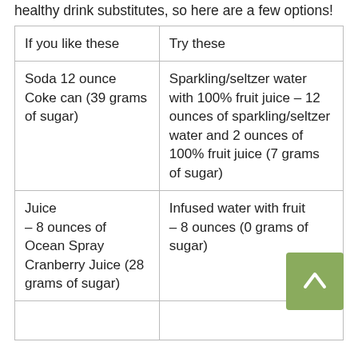healthy drink substitutes, so here are a few options!
| If you like these | Try these |
| --- | --- |
| Soda 12 ounce Coke can (39 grams of sugar) | Sparkling/seltzer water with 100% fruit juice – 12 ounces of sparkling/seltzer water and 2 ounces of 100% fruit juice (7 grams of sugar) |
| Juice
– 8 ounces of Ocean Spray Cranberry Juice (28 grams of sugar) | Infused water with fruit
– 8 ounces (0 grams of sugar) |